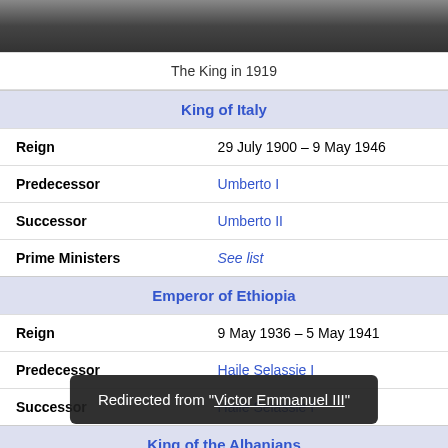[Figure (photo): Black and white photograph of the King, cropped at top]
The King in 1919
| King of Italy |
| Reign | 29 July 1900 – 9 May 1946 |
| Predecessor | Umberto I |
| Successor | Umberto II |
| Prime Ministers | See list |
| Emperor of Ethiopia |
| Reign | 9 May 1936 – 5 May 1941 |
| Predecessor | Haile Selassie I |
| Successor | Haile Selassie I |
| King of the Albanians |
| Re[ign] | [...] er 1943 |
Redirected from "Victor Emmanuel III"